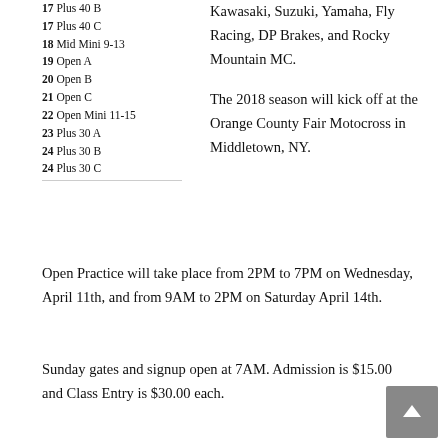17 Plus 40 B
17 Plus 40 C
18 Mid Mini 9-13
19 Open A
20 Open B
21 Open C
22 Open Mini 11-15
23 Plus 30 A
24 Plus 30 B
24 Plus 30 C
Kawasaki, Suzuki, Yamaha, Fly Racing, DP Brakes, and Rocky Mountain MC.
The 2018 season will kick off at the Orange County Fair Motocross in Middletown, NY.
Open Practice will take place from 2PM to 7PM on Wednesday, April 11th, and from 9AM to 2PM on Saturday April 14th.
Sunday gates and signup open at 7AM.  Admission is $15.00 and Class Entry is $30.00 each.